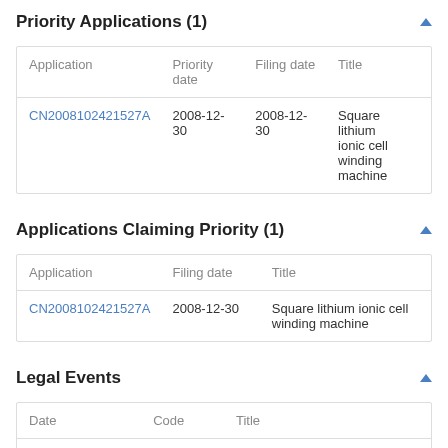Priority Applications (1)
| Application | Priority date | Filing date | Title |
| --- | --- | --- | --- |
| CN2008102421527A | 2008-12-30 | 2008-12-30 | Square lithium ionic cell winding machine |
Applications Claiming Priority (1)
| Application | Filing date | Title |
| --- | --- | --- |
| CN2008102421527A | 2008-12-30 | Square lithium ionic cell winding machine |
Legal Events
| Date | Code | Title |
| --- | --- | --- |
| 2010-07-… | … | … |